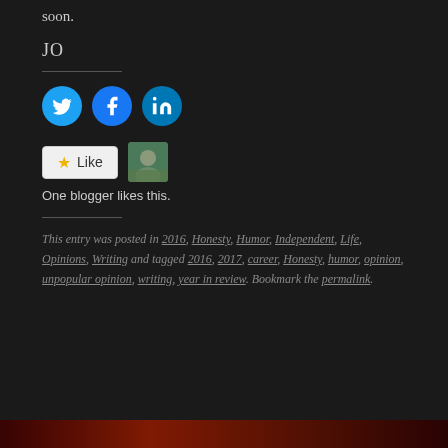soon.
JO
[Figure (infographic): Three social media icons: Twitter (blue circle), Facebook (blue circle), LinkedIn (blue circle)]
[Figure (infographic): Like button with star and a blogger avatar thumbnail. Text: One blogger likes this.]
This entry was posted in 2016, Honesty, Humor, Independent, Life, Opinions, Writing and tagged 2016, 2017, career, Honesty, humor, opinion, unpopular opinion, writing, year in review. Bookmark the permalink.